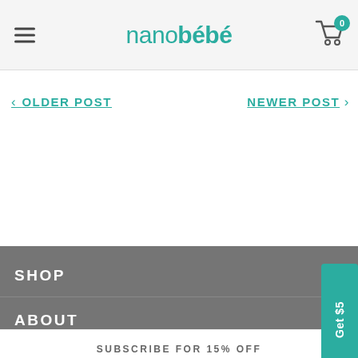nanobébé
< OLDER POST
NEWER POST >
[Figure (other): Get $5 promotional tab on right side]
SHOP
ABOUT
SUBSCRIBE FOR 15% OFF